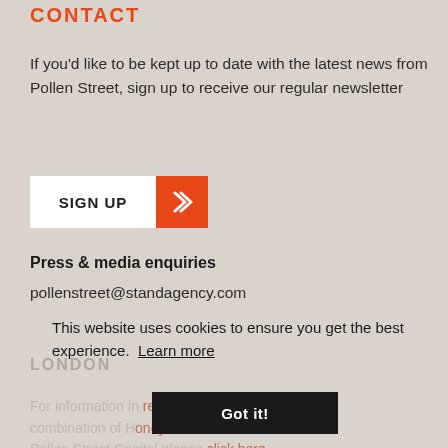CONTACT
If you’d like to be kept up to date with the latest news from Pollen Street, sign up to receive our regular newsletter
SIGN UP
Press & media enquiries
pollenstreet@standagency.com
LONDON
This website uses cookies to ensure you get the best experience.  Learn more
Got it!
For information in relation to the proposed combination of Honeycomb Investment Trust and Pollen Street Capital please click here.